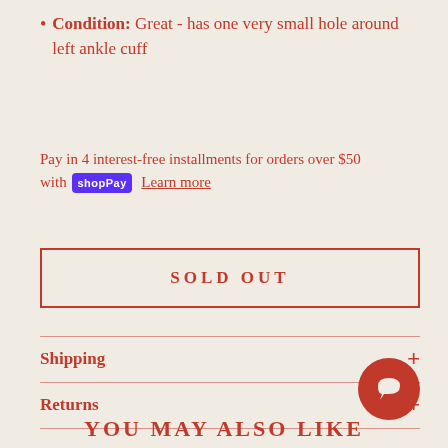Condition: Great - has one very small hole around left ankle cuff
Pay in 4 interest-free installments for orders over $50 with shop Pay  Learn more
SOLD OUT
Shipping
Returns
YOU MAY ALSO LIKE